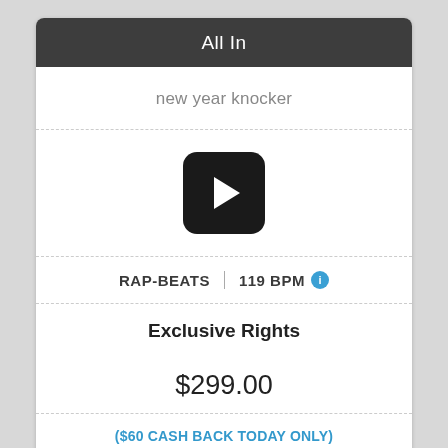All In
new year knocker
[Figure (other): Black rounded-rectangle play button with white triangle pointing right]
RAP-BEATS | 119 BPM
Exclusive Rights
$299.00
($60 CASH BACK TODAY ONLY)
Buy it now $239.00